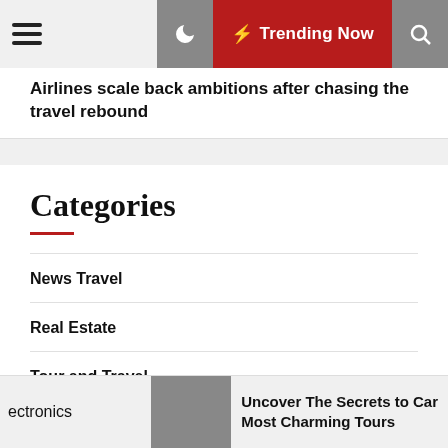Trending Now
Airlines scale back ambitions after chasing the travel rebound
Categories
News Travel
Real Estate
Tour and Travel
Tour Stadium
Tour Advi…
ectronics … Uncover The Secrets to Car Most Charming Tours